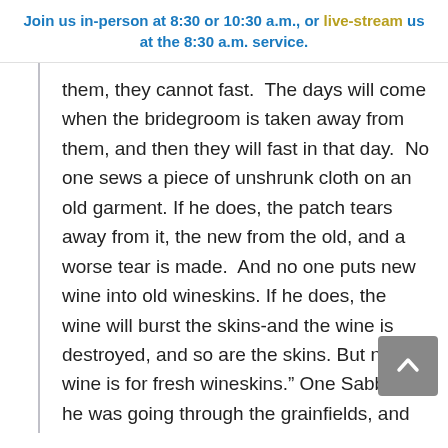Join us in-person at 8:30 or 10:30 a.m., or live-stream us at the 8:30 a.m. service.
them, they cannot fast.  The days will come when the bridegroom is taken away from them, and then they will fast in that day.  No one sews a piece of unshrunk cloth on an old garment. If he does, the patch tears away from it, the new from the old, and a worse tear is made.  And no one puts new wine into old wineskins. If he does, the wine will burst the skins-and the wine is destroyed, and so are the skins. But new wine is for fresh wineskins." One Sabbath he was going through the grainfields, and as they made their way, his disciples began to pluck heads of